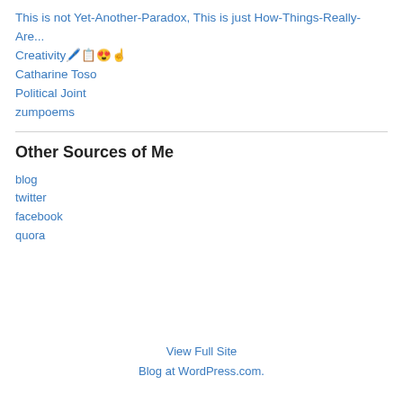This is not Yet-Another-Paradox, This is just How-Things-Really-Are...
Creativity 🖊️📋😍☝️
Catharine Toso
Political Joint
zumpoems
Other Sources of Me
blog
twitter
facebook
quora
View Full Site
Blog at WordPress.com.